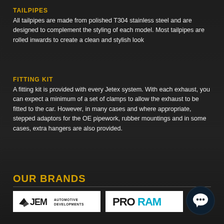TAILPIPES
All tailpipes are made from polished T304 stainless steel and are designed to complement the styling of each model. Most tailpipes are rolled inwards to create a clean and stylish look
FITTING KIT
A fitting kit is provided with every Jetex system. With each exhaust, you can expect a minimum of a set of clamps to allow the exhaust to be fitted to the car. However, in many cases and where appropriate, stepped adaptors for the OE pipework, rubber mountings and in some cases, extra hangers are also provided.
OUR BRANDS
[Figure (logo): JEM Automotive Developments logo on white background]
[Figure (logo): PRORAM logo on white background]
[Figure (other): Chat bubble icon, dark circular background with white speech bubble]